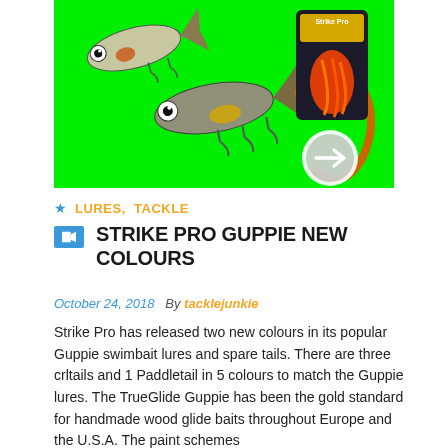[Figure (photo): Product photo of Strike Pro Guppie swimbait lures and spare tails on a bright green background. Two fish-shaped lures with hooks and a retail blister pack with orange/pink curly tails are shown. A circular arrow button overlay appears in the bottom-right corner.]
★  LURES, TACKLE
STRIKE PRO GUPPIE NEW COLOURS
October 24, 2018  By tacklejunkie
Strike Pro has released two new colours in its popular Guppie swimbait lures and spare tails. There are three crltails and 1 Paddletail in 5 colours to match the Guppie lures. The TrueGlide Guppie has been the gold standard for handmade wood glide baits throughout Europe and the U.S.A. The paint schemes